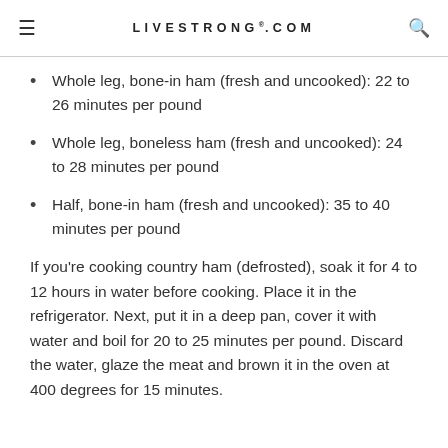LIVESTRONG.COM
Whole leg, bone-in ham (fresh and uncooked): 22 to 26 minutes per pound
Whole leg, boneless ham (fresh and uncooked): 24 to 28 minutes per pound
Half, bone-in ham (fresh and uncooked): 35 to 40 minutes per pound
If you're cooking country ham (defrosted), soak it for 4 to 12 hours in water before cooking. Place it in the refrigerator. Next, put it in a deep pan, cover it with water and boil for 20 to 25 minutes per pound. Discard the water, glaze the meat and brown it in the oven at 400 degrees for 15 minutes.